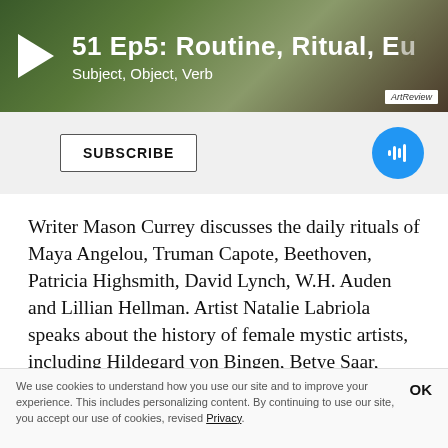[Figure (screenshot): Podcast episode banner showing a dark background with a play button, episode title '51 Ep5: Routine, Ritual, E...' and subtitle 'Subject, Object, Verb' with ArtReview branding]
[Figure (screenshot): Subscribe bar with SUBSCRIBE button and a blue podcast/audio waveform icon button]
Writer Mason Currey discusses the daily rituals of Maya Angelou, Truman Capote, Beethoven, Patricia Highsmith, David Lynch, W.H. Auden and Lillian Hellman. Artist Natalie Labriola speaks about the history of female mystic artists, including Hildegard von Bingen, Betye Saar, Georgiana Houghton, CA Conrad, and Ana Mendieta. Candice Lin offers a surreal eulogy for her feral cat friend. New music by Astral Oracles and Sam Gendel.
We use cookies to understand how you use our site and to improve your experience. This includes personalizing content. By continuing to use our site, you accept our use of cookies, revised Privacy.